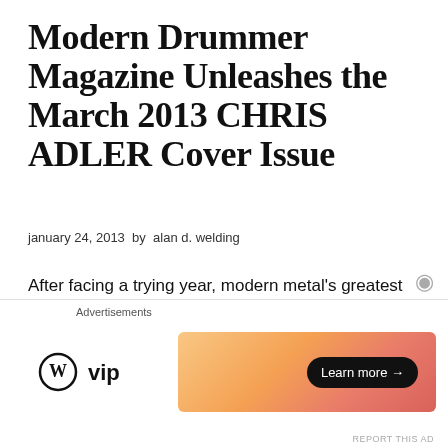Modern Drummer Magazine Unleashes the March 2013 CHRIS ADLER Cover Issue
january 24, 2013 by alan d. welding
After facing a trying year, modern metal's greatest band, LAMB OF GOD, is being honored by one of our generation's greatest music publications. Arriving just a few short weeks after the band's fourth Grammy nomination, February 1st will see the release of…
[Figure (other): WordPress VIP advertisement banner with gradient orange-pink background and 'Learn more →' button]